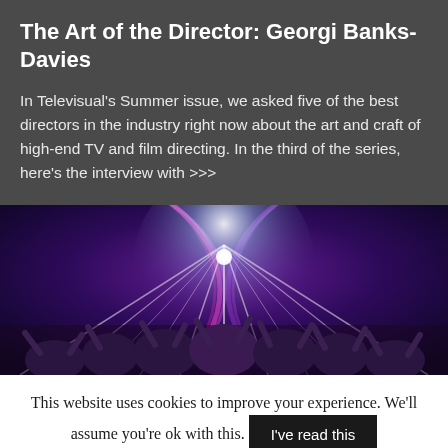The Art of the Director: Georgi Banks-Davies
In Televisual's Summer issue, we asked five of the best directors in the industry right now about the art and craft of high-end TV and film directing. In the third of the series, here's the interview with >>>
[Figure (photo): A wide-angle photo of a large group of performers on a TV show stage, likely Strictly Come Dancing, with dramatic pink/purple and white stage lighting effects, spotlights radiating outward, and the enthusiastic cast raising their arms and celebrating.]
This website uses cookies to improve your experience. We'll assume you're ok with this.
I've read this